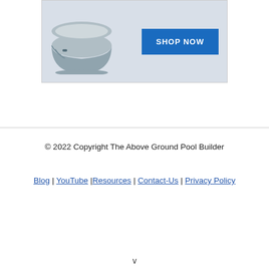[Figure (photo): Advertisement banner showing a round gray pool cover/hot tub cover with a blue SHOP NOW button on a light gray background]
© 2022 Copyright The Above Ground Pool Builder
Blog | YouTube |Resources | Contact-Us | Privacy Policy